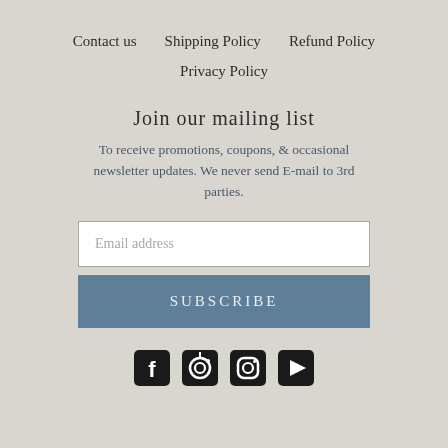Contact us   Shipping Policy   Refund Policy   Privacy Policy
Join our mailing list
To receive promotions, coupons, & occasional newsletter updates. We never send E-mail to 3rd parties.
Email address
SUBSCRIBE
[Figure (illustration): Social media icons: Facebook, Pinterest, Instagram, YouTube]